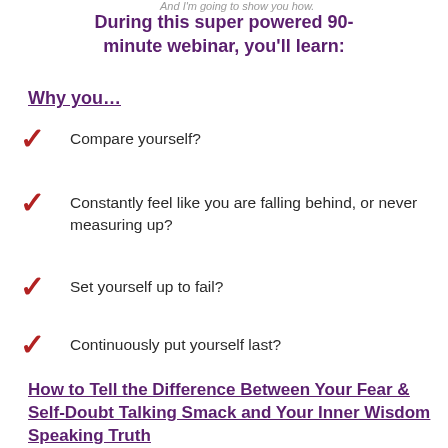And I'm going to show you how.
During this super powered 90-minute webinar, you'll learn:
Why you…
Compare yourself?
Constantly feel like you are falling behind, or never measuring up?
Set yourself up to fail?
Continuously put yourself last?
How to Tell the Difference Between Your Fear & Self-Doubt Talking Smack and Your Inner Wisdom Speaking Truth